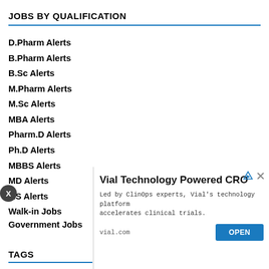JOBS BY QUALIFICATION
D.Pharm Alerts
B.Pharm Alerts
B.Sc Alerts
M.Pharm Alerts
M.Sc Alerts
MBA Alerts
Pharm.D Alerts
Ph.D Alerts
MBBS Alerts
MD Alerts
MS Alerts
Walk-in Jobs
Government Jobs
TAGS
[Figure (screenshot): Advertisement overlay for Vial Technology Powered CRO. Text: 'Vial Technology Powered CRO', 'Led by ClinOps experts, Vial's technology platform accelerates clinical trials.', vial.com, OPEN button. Ad icons top right.]